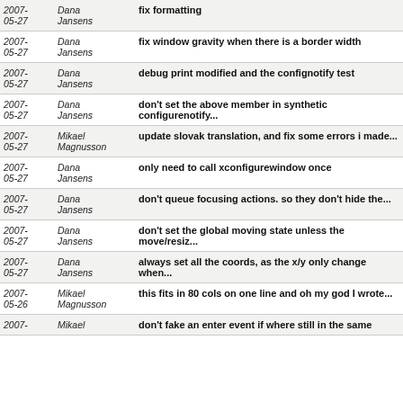| Date | Author | Message |
| --- | --- | --- |
| 2007-05-27 | Dana Jansens | fix formatting |
| 2007-05-27 | Dana Jansens | fix window gravity when there is a border width |
| 2007-05-27 | Dana Jansens | debug print modified and the confignotify test |
| 2007-05-27 | Dana Jansens | don't set the above member in synthetic configurenotify... |
| 2007-05-27 | Mikael Magnusson | update slovak translation, and fix some errors i made... |
| 2007-05-27 | Dana Jansens | only need to call xconfigurewindow once |
| 2007-05-27 | Dana Jansens | don't queue focusing actions. so they don't hide the... |
| 2007-05-27 | Dana Jansens | don't set the global moving state unless the move/resiz... |
| 2007-05-27 | Dana Jansens | always set all the coords, as the x/y only change when... |
| 2007-05-26 | Mikael Magnusson | this fits in 80 cols on one line and oh my god I wrote... |
| 2007- | Mikael | don't fake an enter event if where still in the same... |